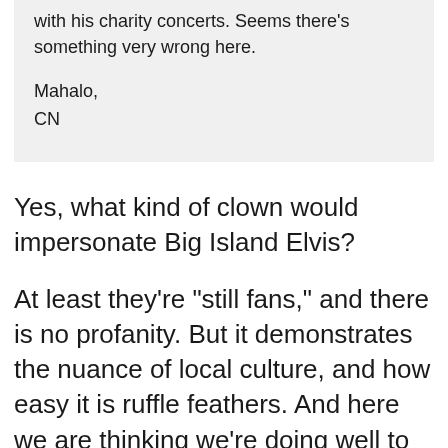with his charity concerts. Seems there’s something very wrong here.

Mahalo,
CN
Yes, what kind of clown would impersonate Big Island Elvis?
At least they’re “still fans,” and there is no profanity. But it demonstrates the nuance of local culture, and how easy it is ruffle feathers. And here we are thinking we’re doing well to promote the region, and share the good times. It frustrates at times because we spend significant